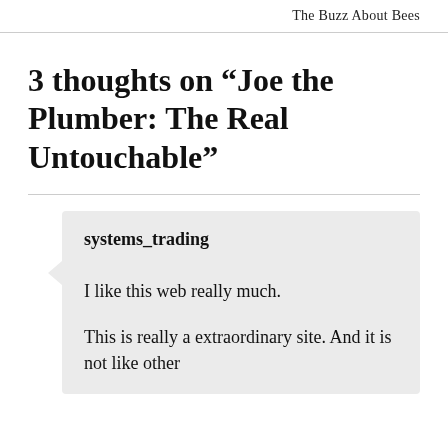The Buzz About Bees
3 thoughts on “Joe the Plumber: The Real Untouchable”
systems_trading

I like this web really much.

This is really a extraordinary site. And it is not like other